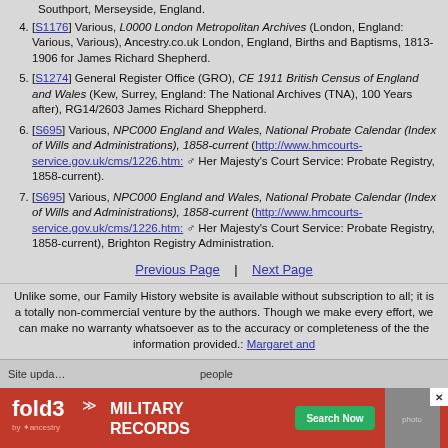Southport, Merseyside, England.
[S1176] Various, L0000 London Metropolitan Archives (London, England: Various, Various), Ancestry.co.uk London, England, Births and Baptisms, 1813-1906 for James Richard Shepherd.
[S1274] General Register Office (GRO), CE 1911 British Census of England and Wales (Kew, Surrey, England: The National Archives (TNA), 100 Years after), RG14/2603 James Richard Sheppherd.
[S695] Various, NPC000 England and Wales, National Probate Calendar (Index of Wills and Administrations), 1858-current (http://www.hmcourts-service.gov.uk/cms/1226.htm: Her Majesty's Court Service: Probate Registry, 1858-current).
[S695] Various, NPC000 England and Wales, National Probate Calendar (Index of Wills and Administrations), 1858-current (http://www.hmcourts-service.gov.uk/cms/1226.htm: Her Majesty's Court Service: Probate Registry, 1858-current), Brighton Registry Administration.
Previous Page | Next Page
Unlike some, our Family History website is available without subscription to all; it is a totally non-commercial venture by the authors. Though we make every effort, we can make no warranty whatsoever as to the accuracy or completeness of the the information provided.: Margaret and
Site upda... people